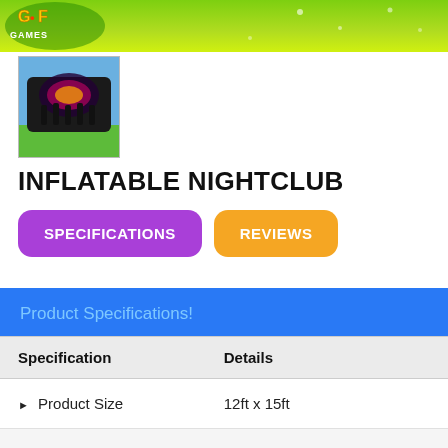[Figure (logo): GF Games banner with green gradient background and logo]
[Figure (photo): Inflatable nightclub product thumbnail photo showing black inflatable structure with colorful graphics]
INFLATABLE NIGHTCLUB
SPECIFICATIONS
REVIEWS
Product Specifications!
| Specification | Details |
| --- | --- |
| ▶ Product Size | 12ft x 15ft |
| ▶ Suitable For | Children and Adults |